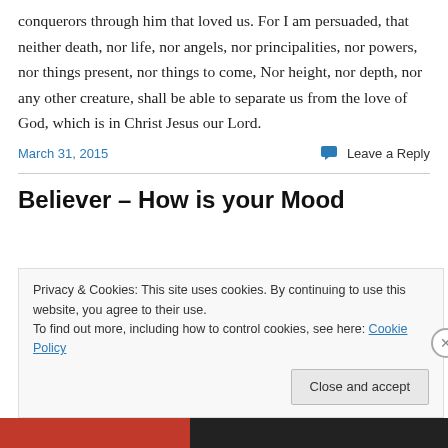conquerors through him that loved us. For I am persuaded, that neither death, nor life, nor angels, nor principalities, nor powers, nor things present, nor things to come, Nor height, nor depth, nor any other creature, shall be able to separate us from the love of God, which is in Christ Jesus our Lord.
March 31, 2015
Leave a Reply
Believer – How is your Mood
Privacy & Cookies: This site uses cookies. By continuing to use this website, you agree to their use.
To find out more, including how to control cookies, see here: Cookie Policy
Close and accept